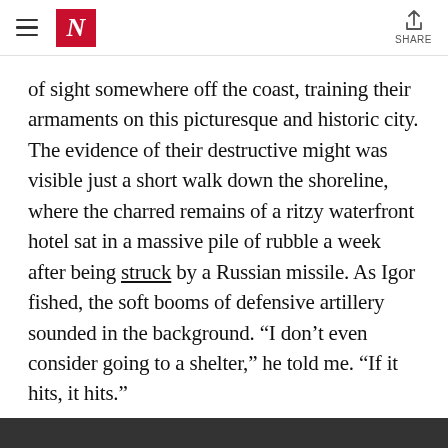N | SHARE
of sight somewhere off the coast, training their armaments on this picturesque and historic city. The evidence of their destructive might was visible just a short walk down the shoreline, where the charred remains of a ritzy waterfront hotel sat in a massive pile of rubble a week after being struck by a Russian missile. As Igor fished, the soft booms of defensive artillery sounded in the background. “I don’t even consider going to a shelter,” he told me. “If it hits, it hits.”
[Figure (photo): Bottom strip of a photograph, partially visible at the bottom of the page]